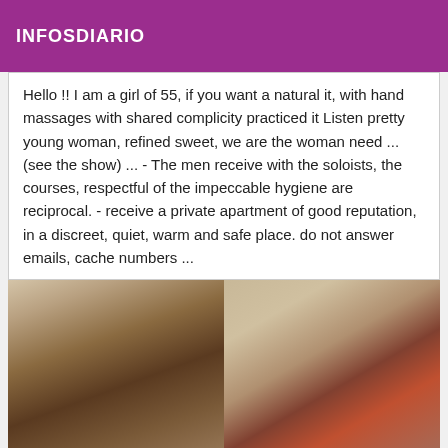INFOSDIARIO
Hello !! I am a girl of 55, if you want a natural it, with hand massages with shared complicity practiced it Listen pretty young woman, refined sweet, we are the woman need ... (see the show) ... - The men receive with the soloists, the courses, respectful of the impeccable hygiene are reciprocal. - receive a private apartment of good reputation, in a discreet, quiet, warm and safe place. do not answer emails, cache numbers ...
[Figure (photo): A photograph showing people in an intimate setting indoors, with a wall decoration visible in the background on the right side.]